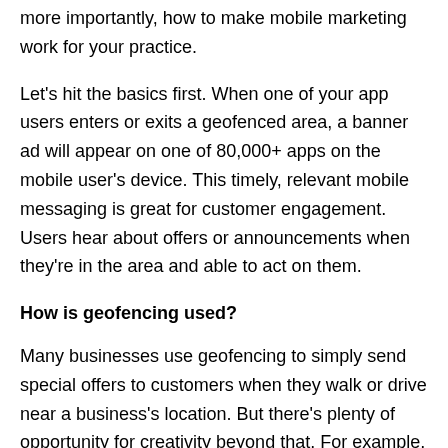more importantly, how to make mobile marketing work for your practice.
Let's hit the basics first. When one of your app users enters or exits a geofenced area, a banner ad will appear on one of 80,000+ apps on the mobile user's device. This timely, relevant mobile messaging is great for customer engagement. Users hear about offers or announcements when they're in the area and able to act on them.
How is geofencing used?
Many businesses use geofencing to simply send special offers to customers when they walk or drive near a business's location. But there's plenty of opportunity for creativity beyond that. For example, real estate agencies can send push notifications to possible buyers when they come near open houses, and bands can send messages to fans when they walk by a concert venue